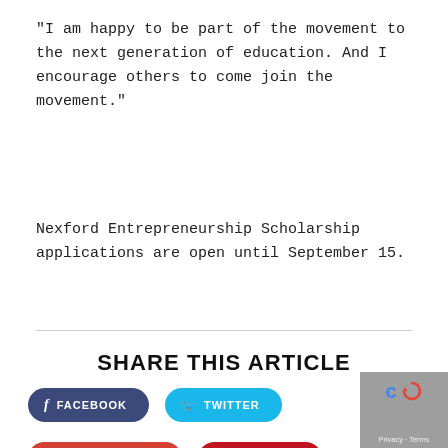“I am happy to be part of the movement to the next generation of education. And I encourage others to come join the movement.”
Nexford Entrepreneurship Scholarship applications are open until September 15.
SHARE THIS ARTICLE
[Figure (infographic): Social share buttons: Facebook, Twitter, Google Plus, Pinterest, LinkedIn]
[Figure (other): reCAPTCHA widget with Privacy and Terms links]